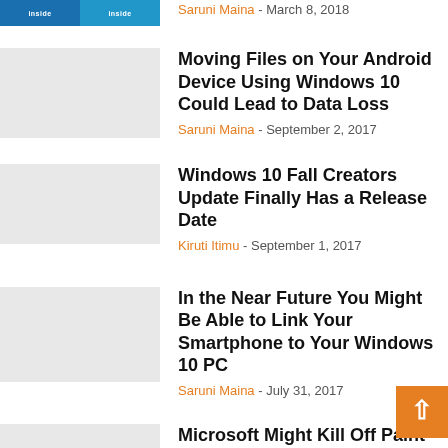[Figure (screenshot): Thumbnail image with blue Windows-style book cover showing 'inside' labels]
Saruni Maina - March 8, 2018
Moving Files on Your Android Device Using Windows 10 Could Lead to Data Loss
Saruni Maina - September 2, 2017
Windows 10 Fall Creators Update Finally Has a Release Date
Kiruti Itimu - September 1, 2017
In the Near Future You Might Be Able to Link Your Smartphone to Your Windows 10 PC
Saruni Maina - July 31, 2017
Microsoft Might Kill Off Paint in Future Windows 10 Releases